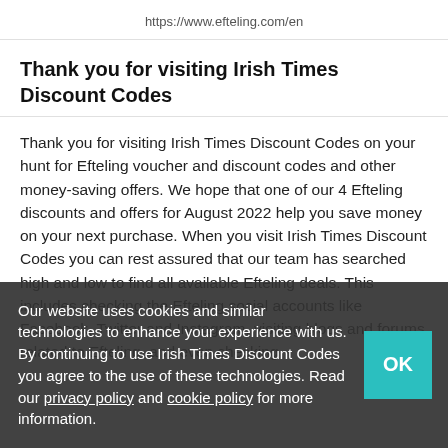https://www.efteling.com/en
Thank you for visiting Irish Times Discount Codes
Thank you for visiting Irish Times Discount Codes on your hunt for Efteling voucher and discount codes and other money-saving offers. We hope that one of our 4 Efteling discounts and offers for August 2022 help you save money on your next purchase. When you visit Irish Times Discount Codes you can rest assured that our team has searched high and low to find all available Efteling deals. This includes checking the Efteling social accounts like Facebook, Twitter and Instagram, visiting blogs and forums related to Efteling, and even checking
Our website uses cookies and similar technologies to enhance your experience with us. By continuing to use Irish Times Discount Codes you agree to the use of these technologies. Read our privacy policy and cookie policy for more information.